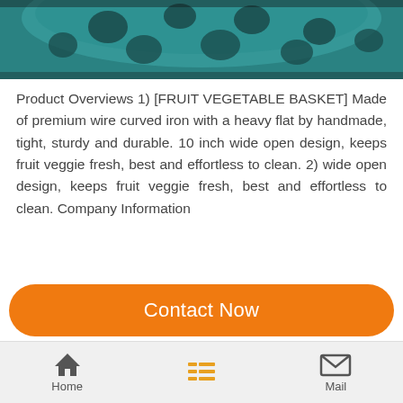[Figure (photo): Partial top view of a teal/turquoise fruit and vegetable basket with cut-out wire pattern design against a dark background]
Product Overviews 1) [FRUIT VEGETABLE BASKET] Made of premium wire curved iron with a heavy flat by handmade, tight, sturdy and durable. 10 inch wide open design, keeps fruit veggie fresh, best and effortless to clean. 2) wide open design, keeps fruit veggie fresh, best and effortless to clean. Company Information
Contact Now
Home  Mail